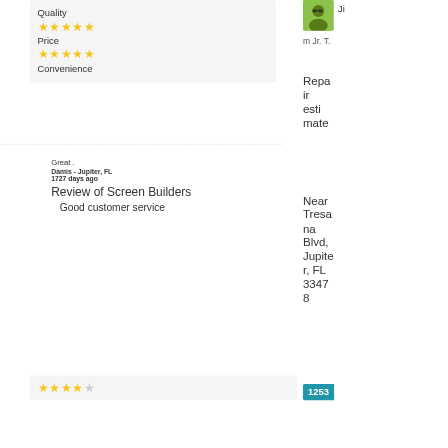Quality
[Figure (other): 5 yellow stars rating for Quality]
Price
[Figure (other): 5 yellow stars rating for Price]
Convenience
Great .
Damis - Jupiter, FL
1727 days ago
Review of Screen Builders
Good customer service
[Figure (other): 4 yellow stars and 1 empty star rating]
[Figure (photo): Profile photo of reviewer - man in green shirt with sunglasses]
Ji
m Jr. T.
Repair estimate
Near Tresana Blvd, Jupiter, FL 33478
1253